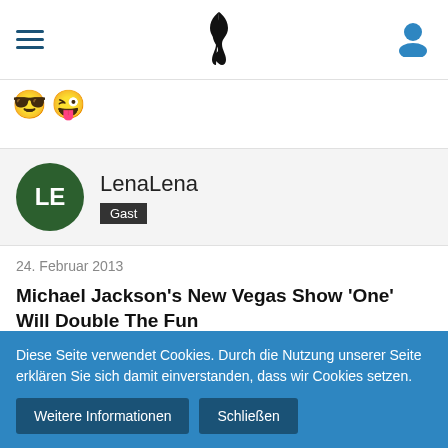Navigation header with hamburger menu, Michael Jackson logo icon, and user icon
[Figure (illustration): Two yellow smiley face emoji icons]
LenaLena
Gast
24. Februar 2013
Michael Jackson's New Vegas Show 'One' Will Double The Fun
Michael Jackson pulled in an estimated $145 million last year from beyond the grave–tens of millions more than any living musician. A big part of that: his Immortal World Tour, a joint venture between the Michael Jackson Estate and Cirque du Soleil that earned $1.00 millio
Diese Seite verwendet Cookies. Durch die Nutzung unserer Seite erklären Sie sich damit einverstanden, dass wir Cookies setzen.